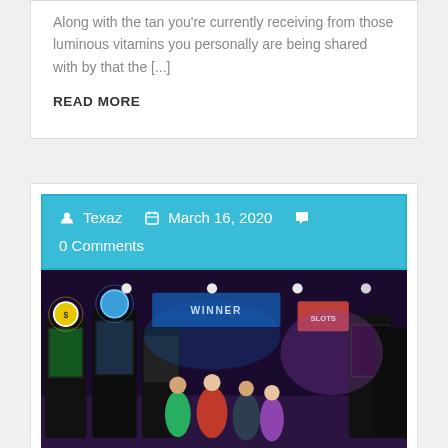Along with the tan you're currently receiving from those luminous vitamins you personally are being shared with by that the [...]
READ MORE
Texaz   March 16, 2020   0 Comments
[Figure (photo): Interior of a casino floor with slot machines and people playing, colorful neon lights in background]